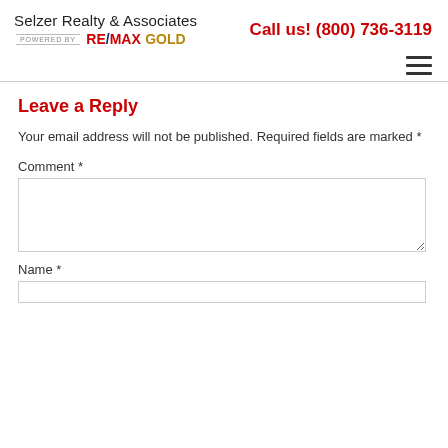Selzer Realty & Associates | POWERED BY RE/MAX GOLD | Call us! (800) 736-3119
Leave a Reply
Your email address will not be published. Required fields are marked *
Comment *
Name *